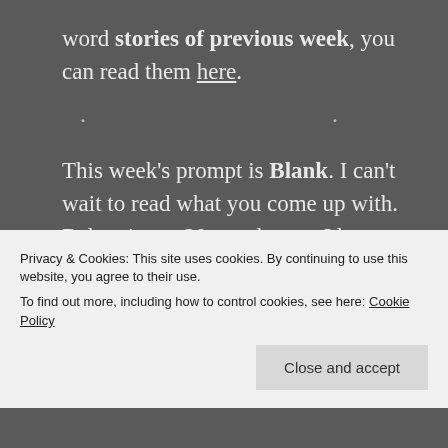word stories of previous week, you can read them here.
* * *
This week's prompt is Blank. I can't wait to read what you come up with. Below is my 20-word story, I hope you'll like it. Now, hop on the wagon and tell me a tale!
Blank
Privacy & Cookies: This site uses cookies. By continuing to use this website, you agree to their use.
To find out more, including how to control cookies, see here: Cookie Policy
Close and accept